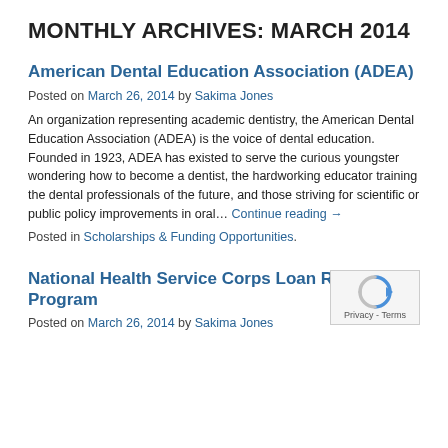MONTHLY ARCHIVES: MARCH 2014
American Dental Education Association (ADEA)
Posted on March 26, 2014 by Sakima Jones
An organization representing academic dentistry, the American Dental Education Association (ADEA) is the voice of dental education. Founded in 1923, ADEA has existed to serve the curious youngster wondering how to become a dentist, the hardworking educator training the dental professionals of the future, and those striving for scientific or public policy improvements in oral… Continue reading →
Posted in Scholarships & Funding Opportunities.
National Health Service Corps Loan Repayment Program
Posted on March 26, 2014 by Sakima Jones